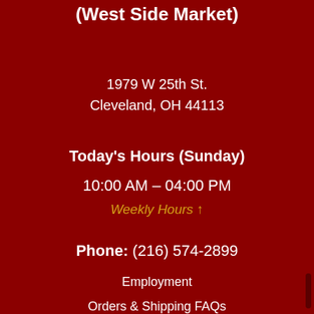(West Side Market)
1979 W 25th St.
Cleveland, OH 44113
Today's Hours (Sunday)
10:00 AM – 04:00 PM
Weekly Hours ↑
Phone: (216) 574-2899
Employment
Orders & Shipping FAQs